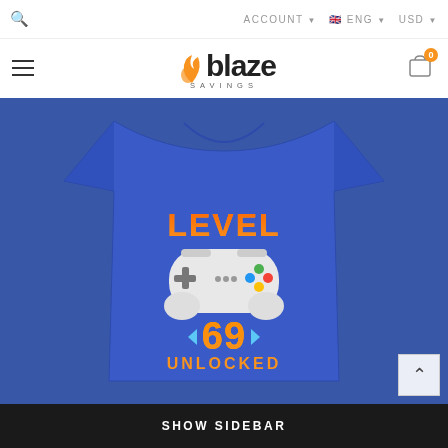ACCOUNT ENG USD
[Figure (logo): Blaze Savings logo with orange flame icon and bold text reading 'blaze' with 'SAVINGS' in small caps below]
[Figure (photo): Product photo of a royal blue t-shirt with gamer design reading LEVEL 69 UNLOCKED with game controller graphic]
SHOW SIDEBAR